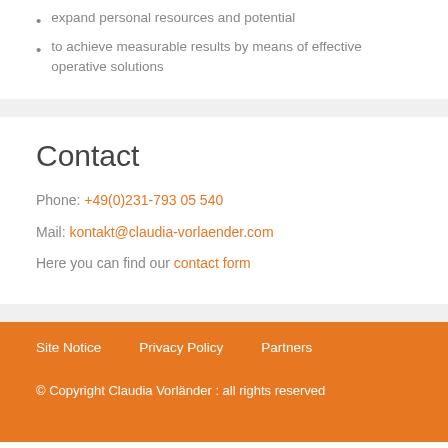expand personal resources and potential
to achieve measurable results by means of effective operative solutions
Contact
Phone: +49(0)231-793 05 540
Mail: kontakt@claudia-vorlaender.com
Here you can find our contact form
Site Notice    Privacy Policy    Partners
© Copyright Claudia Vorländer : all rights reserved